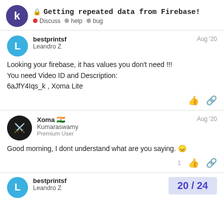Getting repeated data from Firebase! Discuss help bug
bestprintsf
Leandro Z
Aug '20
Looking your firebase, it has values you don't need !!!
You need Video ID and Description:
6aJfY4Iqs_k , Xoma Lite
Xoma 🇮🇳
Kumaraswamy
Premium User
Aug '20
Good morning, I dont understand what are you saying. 😞
bestprintsf
Leandro Z
20 / 24